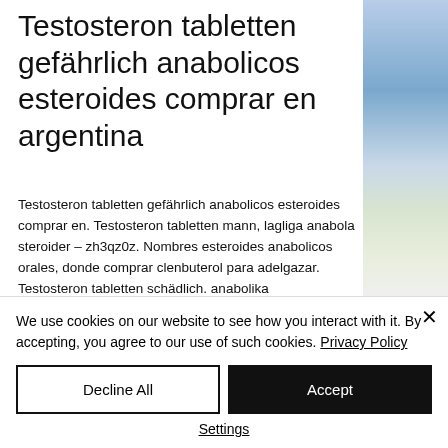Testosteron tabletten gefährlich anabolicos esteroides comprar en argentina
[Figure (photo): Outdoor landscape photo showing sky with clouds and frost-covered ground or vegetation, positioned in the top-right corner]
Testosteron tabletten gefährlich anabolicos esteroides comprar en. Testosteron tabletten mann, lagliga anabola steroider – zh3qz0z. Nombres esteroides anabolicos orales, donde comprar clenbuterol para adelgazar. Testosteron tabletten schädlich. anabolika
We use cookies on our website to see how you interact with it. By accepting, you agree to our use of such cookies. Privacy Policy
Decline All
Accept
Settings